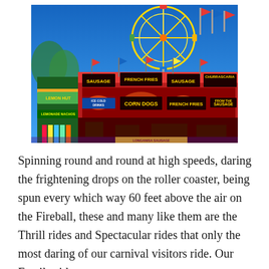[Figure (photo): Colorful carnival fairground scene with a Ferris wheel in the background and bright food vendor stalls in the foreground advertising sausage, French fries, corn dogs, lemonade, nachos, and ice cold drinks.]
Spinning round and round at high speeds, daring the frightening drops on the roller coaster, being spun every which way 60 feet above the air on the Fireball, these and many like them are the Thrill rides and Spectacular rides that only the most daring of our carnival visitors ride. Our Family rides